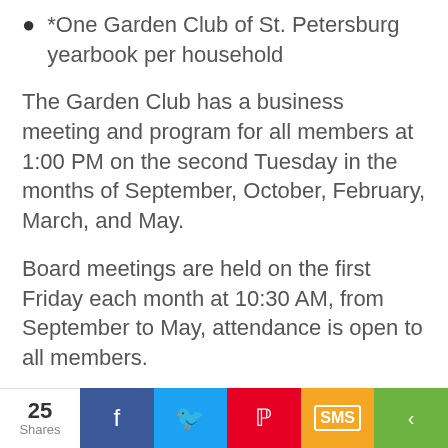*One Garden Club of St. Petersburg yearbook per household
The Garden Club has a business meeting and program for all members at 1:00 PM on the second Tuesday in the months of September, October, February, March, and May.
Board meetings are held on the first Friday each month at 10:30 AM, from September to May, attendance is open to all members.
Membership in the Garden Club of St. Petersburg and Florida Federation of Garden
25 Shares | Facebook | Twitter | Pinterest | SMS | Share